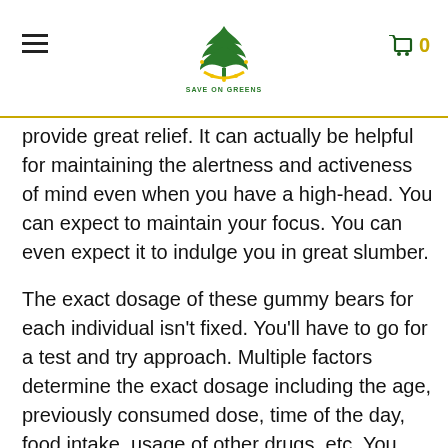Save On Greens — navigation header with logo and cart
provide great relief. It can actually be helpful for maintaining the alertness and activeness of mind even when you have a high-head. You can expect to maintain your focus. You can even expect it to indulge you in great slumber.
The exact dosage of these gummy bears for each individual isn't fixed. You'll have to go for a test and try approach. Multiple factors determine the exact dosage including the age, previously consumed dose, time of the day, food intake, usage of other drugs, etc. You can note down these aspects and the impact that the dosage creates on you, resulting in a better evaluation of the